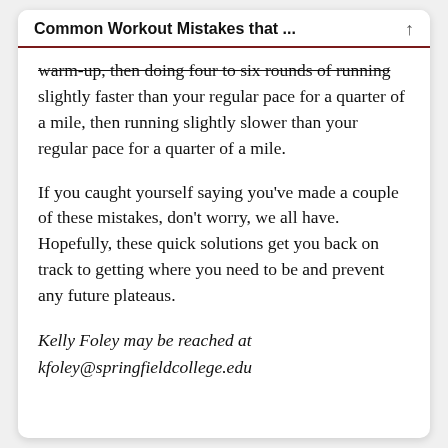Common Workout Mistakes that ...
warm-up, then doing four to six rounds of running slightly faster than your regular pace for a quarter of a mile, then running slightly slower than your regular pace for a quarter of a mile.
If you caught yourself saying you’ve made a couple of these mistakes, don’t worry, we all have. Hopefully, these quick solutions get you back on track to getting where you need to be and prevent any future plateaus.
Kelly Foley may be reached at kfoley@springfieldcollege.edu